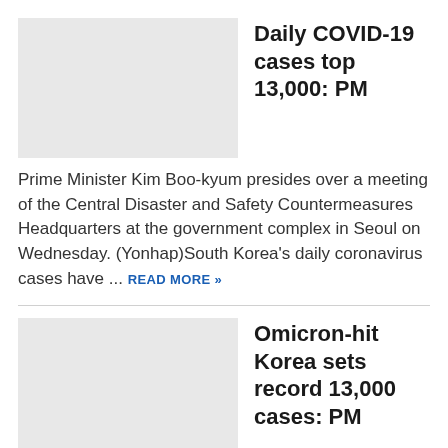[Figure (photo): Placeholder thumbnail image for COVID-19 article (light gray rectangle)]
Daily COVID-19 cases top 13,000: PM
Prime Minister Kim Boo-kyum presides over a meeting of the Central Disaster and Safety Countermeasures Headquarters at the government complex in Seoul on Wednesday. (Yonhap)South Korea's daily coronavirus cases have ...
READ MORE »
[Figure (photo): Placeholder thumbnail image for Omicron article (light gray rectangle)]
Omicron-hit Korea sets record 13,000 cases: PM
Prime Minister Kim Boo-kyum (Yonhap) South